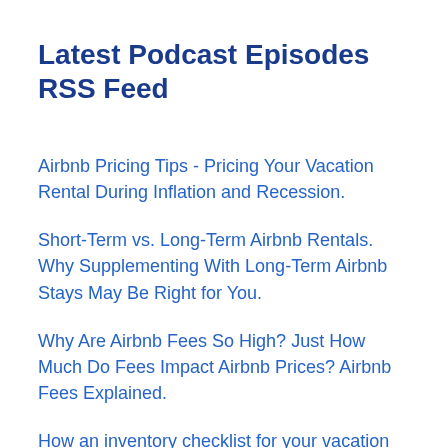Latest Podcast Episodes RSS Feed
Airbnb Pricing Tips - Pricing Your Vacation Rental During Inflation and Recession.
Short-Term vs. Long-Term Airbnb Rentals. Why Supplementing With Long-Term Airbnb Stays May Be Right for You.
Why Are Airbnb Fees So High? Just How Much Do Fees Impact Airbnb Prices? Airbnb Fees Explained.
How an inventory checklist for your vacation rental can save you thousands of dollars.
Airbnb rolls out 'anti-party technology' to help